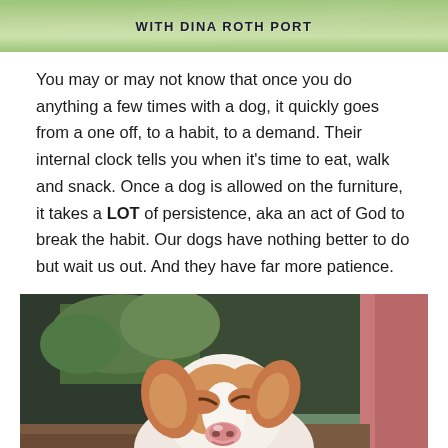[Figure (photo): Header banner with green leafy background and bold text reading 'WITH DINA ROTH PORT']
You may or may not know that once you do anything a few times with a dog, it quickly goes from a one off, to a habit, to a demand. Their internal clock tells you when it's time to eat, walk and snack. Once a dog is allowed on the furniture, it takes a LOT of persistence, aka an act of God to break the habit. Our dogs have nothing better to do but wait us out. And they have far more patience.
[Figure (photo): Close-up photo of a tan and white dog with eyes squinting/closed, appearing to smile, indoors with blurred background showing furniture and green trees]